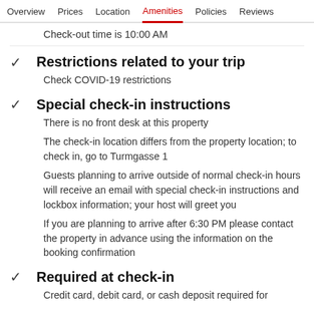Overview  Prices  Location  Amenities  Policies  Reviews
Check-out time is 10:00 AM
Restrictions related to your trip
Check COVID-19 restrictions
Special check-in instructions
There is no front desk at this property
The check-in location differs from the property location; to check in, go to Turmgasse 1
Guests planning to arrive outside of normal check-in hours will receive an email with special check-in instructions and lockbox information; your host will greet you
If you are planning to arrive after 6:30 PM please contact the property in advance using the information on the booking confirmation
Required at check-in
Credit card, debit card, or cash deposit required for